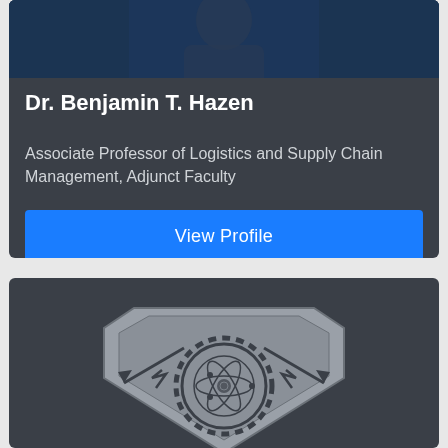[Figure (photo): Top portion of a dark blue faculty profile photo card showing a person in dark clothing]
Dr. Benjamin T. Hazen
Associate Professor of Logistics and Supply Chain Management, Adjunct Faculty
View Profile
[Figure (logo): Military/institutional emblem showing a shield with lightning bolts and a gear with atomic symbol]